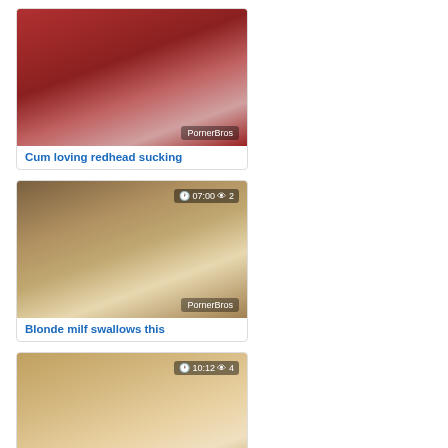[Figure (photo): Thumbnail image of redhead girl on red couch with PornerBros watermark]
Cum loving redhead sucking
[Figure (photo): Thumbnail image with duration 07:00 and 2 views, PornerBros watermark]
Blonde milf swallows this
[Figure (photo): Thumbnail image with duration 10:12 and 4 views]